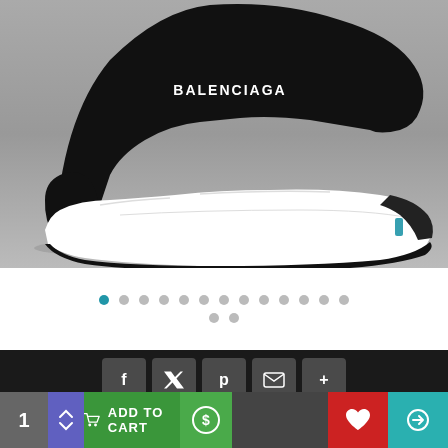[Figure (photo): Balenciaga Speed Trainer sneaker in black with white sole, shown from the side on a gray background]
[Figure (other): Carousel pagination dots — 13 dots in first row (first dot teal/active), 2 dots in second row (both gray)]
[Figure (other): Social share buttons: Facebook (f), Twitter (bird), Pinterest (p), Email (envelope), More (+)]
DESCRIPTION
REVIEWS